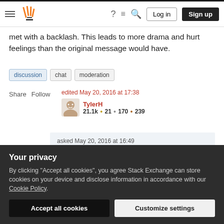Stack Exchange header with menu, logo, help, chat, search, Log in, Sign up
met with a backlash. This leads to more drama and hurt feelings than the original message would have.
discussion
chat
moderation
Share  Follow
edited May 20, 2016 at 17:38
TylerH
21.1k • 21 • 170 • 239
asked May 20, 2016 at 16:49
Sidney
Your privacy
By clicking "Accept all cookies", you agree Stack Exchange can store cookies on your device and disclose information in accordance with our Cookie Policy.
Accept all cookies   Customize settings
2016 at 16:54